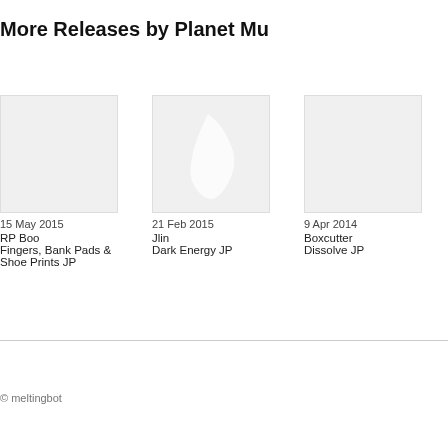More Releases by Planet Mu
[Figure (illustration): Album art placeholder for RP Boo - Fingers, Bank Pads & Shoe Prints JP, light gray rectangle]
15 May 2015
RP Boo
Fingers, Bank Pads & Shoe Prints JP
[Figure (illustration): Album art for Jlin - Dark Energy JP, light gray rectangle with a faint white leaf/feather shape]
21 Feb 2015
Jlin
Dark Energy JP
[Figure (illustration): Album art placeholder for Boxcutter - Dissolve JP, light gray rectangle partially visible]
9 Apr 2014
Boxcutter
Dissolve JP
© meltingbot